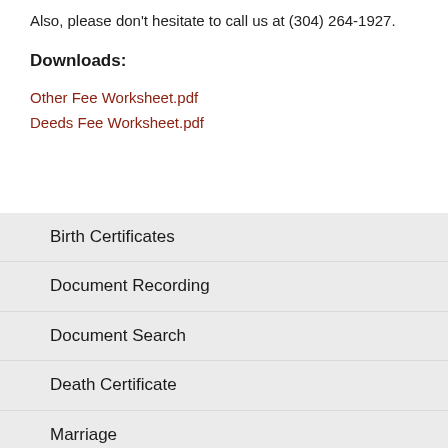Also, please don't hesitate to call us at (304) 264-1927.
Downloads:
Other Fee Worksheet.pdf
Deeds Fee Worksheet.pdf
Birth Certificates
Document Recording
Document Search
Death Certificate
Marriage